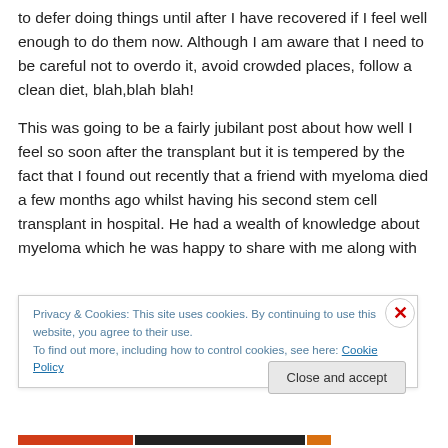to defer doing things until after I have recovered if I feel well enough to do them now. Although I am aware that I need to be careful not to overdo it, avoid crowded places, follow a clean diet, blah,blah blah!
This was going to be a fairly jubilant post about how well I feel so soon after the transplant but it is tempered by the fact that I found out recently that a friend with myeloma died a few months ago whilst having his second stem cell transplant in hospital. He had a wealth of knowledge about myeloma which he was happy to share with me along with
Privacy & Cookies: This site uses cookies. By continuing to use this website, you agree to their use.
To find out more, including how to control cookies, see here: Cookie Policy